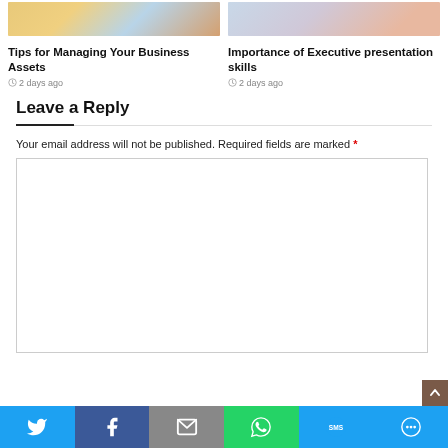[Figure (photo): Thumbnail image for 'Tips for Managing Your Business Assets' article]
[Figure (photo): Thumbnail image for 'Importance of Executive presentation skills' article]
Tips for Managing Your Business Assets
2 days ago
Importance of Executive presentation skills
2 days ago
Leave a Reply
Your email address will not be published. Required fields are marked *
[Figure (screenshot): Comment text area input box]
[Figure (infographic): Social sharing bar with Twitter, Facebook, Email, WhatsApp, SMS, and More buttons]